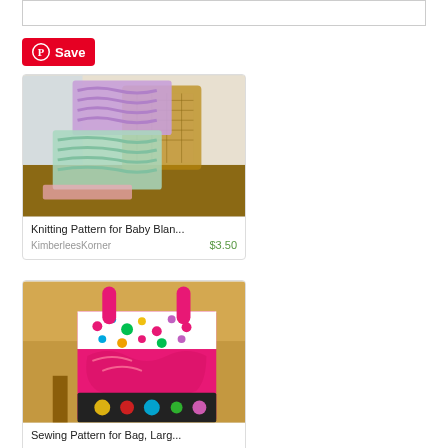[Figure (screenshot): Partial top bar element, cropped at top]
[Figure (other): Pinterest Save button in red]
[Figure (photo): Knitting pattern photo showing a baby blanket draped over a wooden chair, purple and mint green colors]
Knitting Pattern for Baby Blan...
KimberleesKorner
$3.50
[Figure (photo): Sewing pattern photo showing a colorful tote bag with pink handles and multicolor fabric panels on a wooden chair]
Sewing Pattern for Bag, Larg...